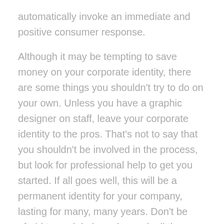automatically invoke an immediate and positive consumer response.
Although it may be tempting to save money on your corporate identity, there are some things you shouldn't try to do on your own. Unless you have a graphic designer on staff, leave your corporate identity to the pros. That's not to say that you shouldn't be involved in the process, but look for professional help to get you started. If all goes well, this will be a permanent identity for your company, lasting for many, many years. Don't be afraid to seek help and spend a little money on this all-important component.